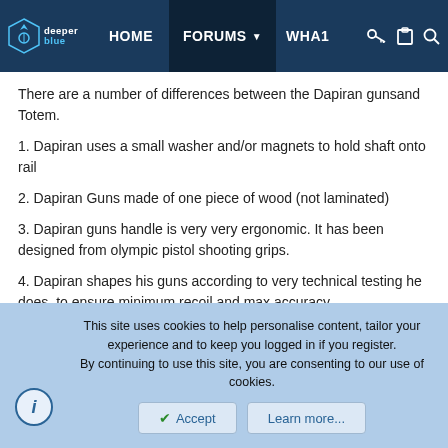deeper blue | HOME | FORUMS | WHAT
There are a number of differences between the Dapiran gunsand Totem.
1. Dapiran uses a small washer and/or magnets to hold shaft onto rail
2. Dapiran Guns made of one piece of wood (not laminated)
3. Dapiran guns handle is very very ergonomic. It has been designed from olympic pistol shooting grips.
4. Dapiran shapes his guns according to very technical testing he does, to ensure minimum recoil and max accuracy.
I have not tested Dapiran guns so cannot comment on performance, but after long conversations with Giorgio, I am very sure they will perform
This site uses cookies to help personalise content, tailor your experience and to keep you logged in if you register.
By continuing to use this site, you are consenting to our use of cookies.
Accept | Learn more...